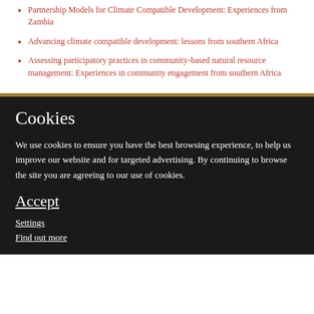Partnership Models for Climate Compatible Development: Experiences from Zambia
Advancing climate compatible development: lessons from southern Africa
Assessing participatory practices in community-based natural resource management: Experiences in community engagement from southern Africa
Cookies
We use cookies to ensure you have the best browsing experience, to help us improve our website and for targeted advertising. By continuing to browse the site you are agreeing to our use of cookies.
Accept
Settings
Find out more